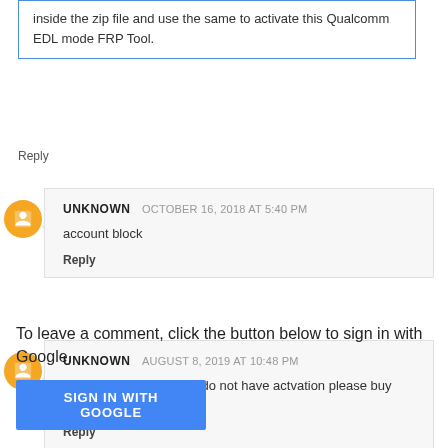inside the zip file and use the same to activate this Qualcomm EDL mode FRP Tool.
Reply
UNKNOWN  OCTOBER 16, 2018 AT 5:40 PM
account block
Reply
UNKNOWN  AUGUST 8, 2019 AT 10:48 PM
the activation say... you do not have actvation please buy activatin first
Reply
To leave a comment, click the button below to sign in with Google.
SIGN IN WITH GOOGLE